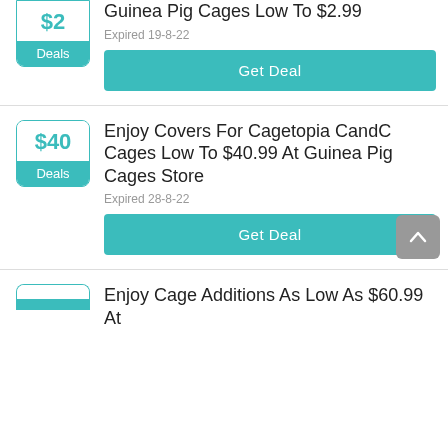Guinea Pig Cages Low To $2.99
Expired 19-8-22
Get Deal
Enjoy Covers For Cagetopia CandC Cages Low To $40.99 At Guinea Pig Cages Store
Expired 28-8-22
Get Deal
Enjoy Cage Additions As Low As $60.99 At